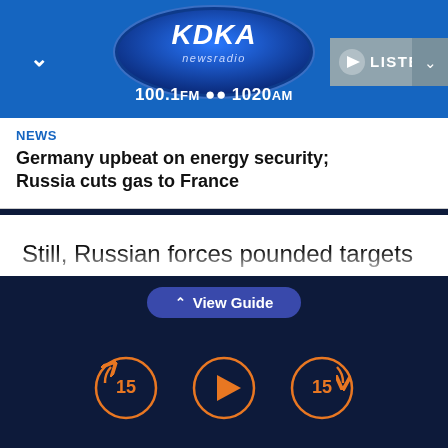[Figure (logo): KDKA Newsradio logo with oval blue background, 100.1FM and 1020AM text below, with LISTEN button and chevron on the right]
NEWS
Germany upbeat on energy security; Russia cuts gas to France
Still, Russian forces pounded targets in the industrial heartland of eastern Ukraine known as the Donbas, and the death toll, already many thousands, kept climbing with the war set to enter its 13th week on Wednesday.
^ View Guide